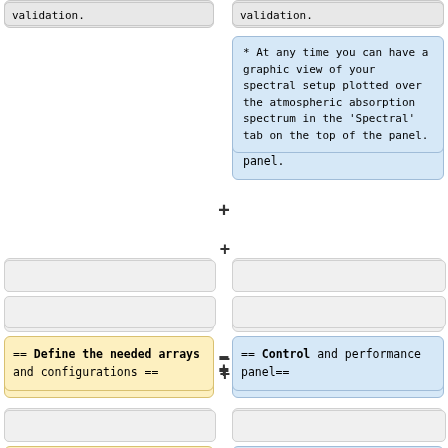[truncated top box left]
[truncated top box right]
* At any time you can have a graphic view of your spectral setup plotted over the atmospheric absorption spectrum in the 'Spectral' tab on the top of the panel.
[empty box left 1]
[empty box right 1]
[empty box left 2]
[empty box right 2]
== Define the needed arrays and configurations ==
== Control and performance panel==
[empty box left 3]
[empty box right 3]
Depending on your desired angular resolution and the maximal characteristic
[empty box right 4]